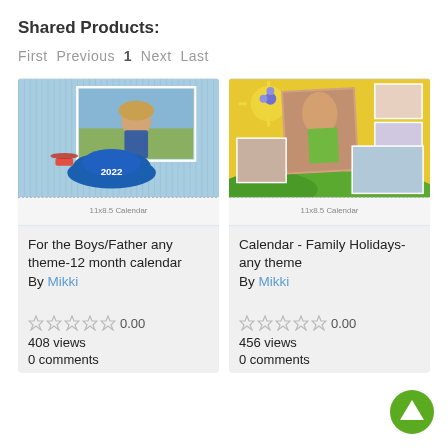Shared Products:
First Previous 1 Next Last
[Figure (photo): Calendar product image: child wearing hat in field, blue cloud background, 2022 calendar, 11x8.5 Calendar]
[Figure (photo): Calendar product image: collage of girls/women photos on yellow sunny background, family holiday theme, 11x8.5 Calendar]
For the Boys/Father any theme-12 month calendar
By Mikki
0.00
408 views
0 comments
Calendar - Family Holidays- any theme
By Mikki
0.00
456 views
0 comments